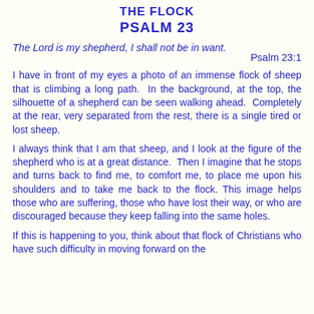THE FLOCK
PSALM 23
The Lord is my shepherd, I shall not be in want.
Psalm 23:1
I have in front of my eyes a photo of an immense flock of sheep that is climbing a long path.  In the background, at the top, the silhouette of a shepherd can be seen walking ahead.  Completely at the rear, very separated from the rest, there is a single tired or lost sheep.
I always think that I am that sheep, and I look at the figure of the shepherd who is at a great distance.  Then I imagine that he stops and turns back to find me, to comfort me, to place me upon his shoulders and to take me back to the flock. This image helps those who are suffering, those who have lost their way, or who are discouraged because they keep falling into the same holes.
If this is happening to you, think about that flock of Christians who have such difficulty in moving forward on the